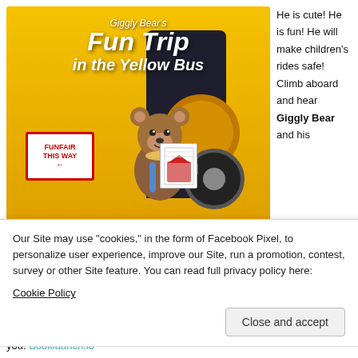[Figure (illustration): Book cover for 'Giggly Bear's Fun Trip in the Yellow Bus' showing a cartoon bear in front of a yellow school bus with a FUNFAIR THIS WAY sign]
He is cute! He is fun! He will make children's rides safe! Climb aboard and hear Giggly Bear and his
Our Site may use "cookies," in the form of Facebook Pixel, to personalize user experience, improve our Site, run a promotion, contest, survey or other Site feature. You can read full privacy policy here:
Cookie Policy
Close and accept
Giggly Bear's Fun Trip in the Yellow Bus is now available at stores near you. Booklaunch.io